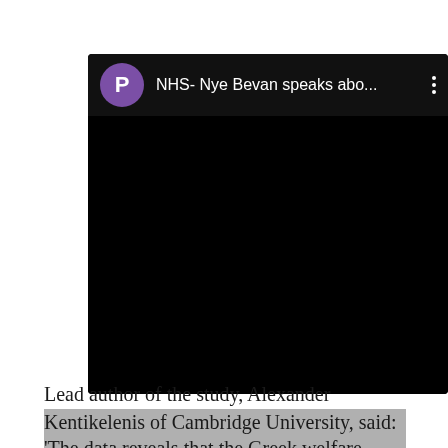[Figure (screenshot): A video thumbnail/player screenshot showing a dark header with a purple 'P' avatar icon, the title 'NHS- Nye Bevan speaks abo...' in white text, a three-dots menu icon, and a black video area below.]
Lead author of the study, Alexander Kentikelenis of Cambridge University, said: 'The data reveals that the Greek welfare